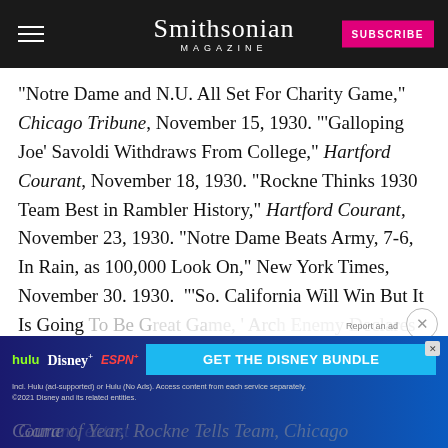Smithsonian MAGAZINE
“Notre Dame and N.U. All Set For Charity Game,” Chicago Tribune, November 15, 1930. ‘‘Galloping Joe’ Savoldi Withdraws From College,” Hartford Courant, November 18, 1930. “Rockne Thinks 1930 Team Best in Rambler History,” Hartford Courant, November 23, 1930. “Notre Dame Beats Army, 7-6, In Rain, as 100,000 Look On,” New York Times, November 30. 1930. ‘‘So. California Will Win But It Is Going To Be Great Game,’ Arch Enemy Declares,” Hartford Courant, December 5, 1930. “Greatest Game of Year,’ Rockne Tells Team, Chicago